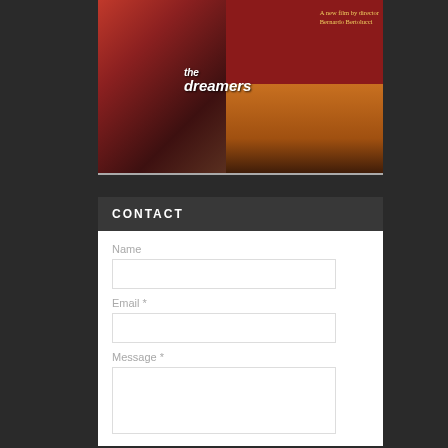[Figure (photo): Movie poster for 'The Dreamers', a film by director Bernardo Bertolucci. The poster shows close-up faces with red and warm orange tones. White bold italic text reads 'the dreamers' and yellow text reads 'A new film by director Bernardo Bertolucci'.]
CONTACT
Name
Email *
Message *